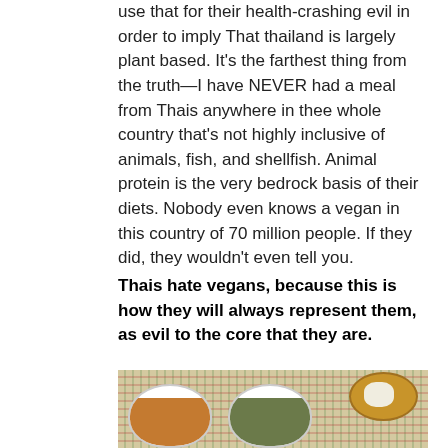use that for their health-crashing evil in order to imply That thailand is largely plant based. It's the farthest thing from the truth—I have NEVER had a meal from Thais anywhere in thee whole country that's not highly inclusive of animals, fish, and shellfish. Animal protein is the very bedrock basis of their diets. Nobody even knows a vegan in this country of 70 million people. If they did, they wouldn't even tell you.
Thais hate vegans, because this is how they will always represent them, as evil to the core that they are.
[Figure (photo): Photo of Thai food bowls on a woven colorful tablecloth. Two white bowls containing soup/curry dishes, one with orange curry on the left and one with green curry in the middle, and a gold/bronze plate with rice and a spoon in the upper right.]